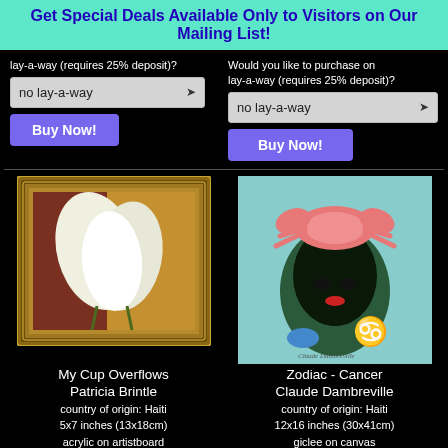Get Special Deals Available Only to Visitors on Our Mailing List!
lay-a-way (requires 25% deposit)?
no lay-a-way
Buy Now!
Would you like to purchase on lay-a-way (requires 25% deposit)?
no lay-a-way
Buy Now!
[Figure (photo): Painting of white calla lilies in a gold ornate frame - 'My Cup Overflows' by Patricia Brintle]
My Cup Overflows
Patricia Brintle
country of origin: Haiti
5x7 inches (13x18cm)
acrylic on artistboard
framed - actual frame shown
[Figure (photo): Artwork showing a woman with a pink crab on her head and Cancer zodiac symbol - 'Zodiac - Cancer' by Claude Dambreville]
Zodiac - Cancer
Claude Dambreville
country of origin: Haiti
12x16 inches (30x41cm)
giclee on canvas
what is a giclee?